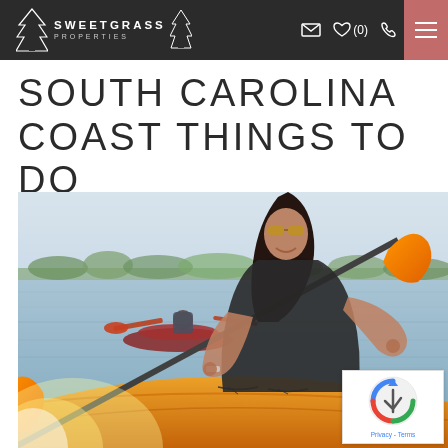Sweetgrass Properties – navigation header with logo, envelope icon, heart icon (0), phone icon, hamburger menu
SOUTH CAROLINA COAST THINGS TO DO
[Figure (photo): Two people kayaking on a calm lake or river. In the foreground a woman with long dark hair and sunglasses smiles while paddling an orange kayak. In the background a man paddles a red kayak. Orange paddle blades and bows are prominent. Green trees line the far shore.]
[Figure (other): reCAPTCHA privacy badge with Google reCAPTCHA logo and 'Privacy - Terms' text]